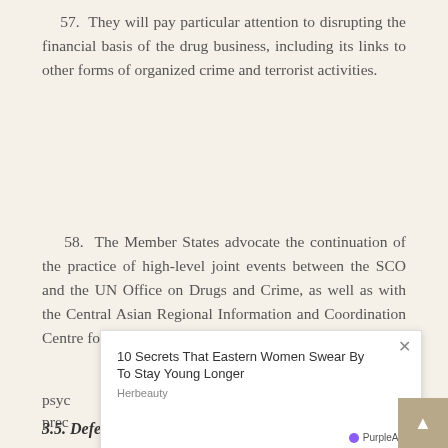57.  They will pay particular attention to disrupting the financial basis of the drug business, including its links to other forms of organized crime and terrorist activities.
58.  The Member States advocate the continuation of the practice of high-level joint events between the SCO and the UN Office on Drugs and Crime, as well as with the Central Asian Regional Information and Coordination Centre for combating illicit ... psyc... prec...
3.5. Defence Cooperation